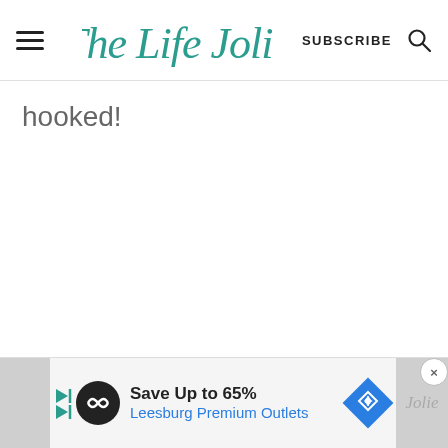The Life Jolie — SUBSCRIBE
hooked!
[Figure (screenshot): Advertisement banner: Save Up to 65% Leesburg Premium Outlets]